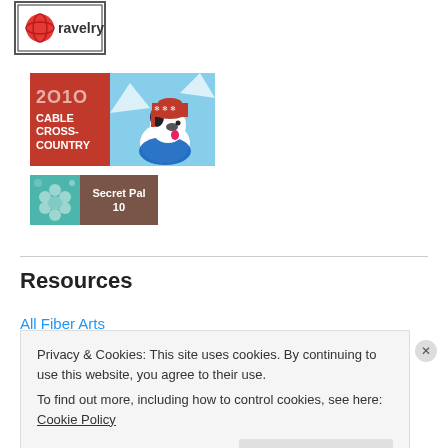[Figure (logo): Ravelry logo badge partially visible at top left]
[Figure (illustration): 2010 Cable Cross-Country banner with red left panel showing year and text, and right panel showing illustrated dog wearing red hat]
[Figure (illustration): Secret Pal 10 badge with teal flower pattern on left and brown background with white text on right]
Resources
All Fiber Arts
Privacy & Cookies: This site uses cookies. By continuing to use this website, you agree to their use.
To find out more, including how to control cookies, see here: Cookie Policy
Close and accept